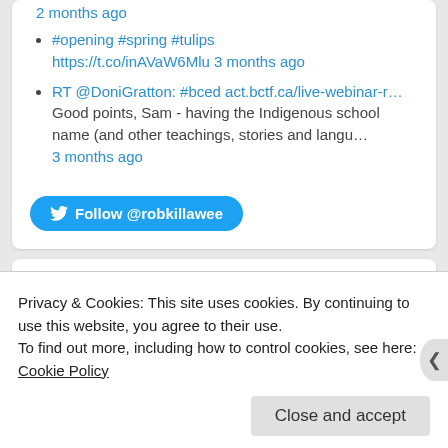2 months ago
#opening #spring #tulips https://t.co/inAVaW6Mlu 3 months ago
RT @DoniGratton: #bced act.bctf.ca/live-webinar-r… Good points, Sam - having the Indigenous school name (and other teachings, stories and langu… 3 months ago
Follow @robkillawee
Privacy & Cookies: This site uses cookies. By continuing to use this website, you agree to their use.
To find out more, including how to control cookies, see here: Cookie Policy
Close and accept